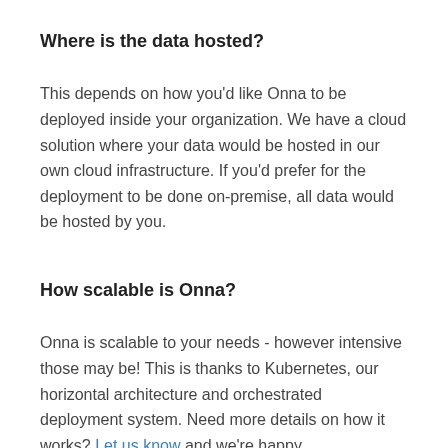Where is the data hosted?
This depends on how you'd like Onna to be deployed inside your organization. We have a cloud solution where your data would be hosted in our own cloud infrastructure. If you'd prefer for the deployment to be done on-premise, all data would be hosted by you.
How scalable is Onna?
Onna is scalable to your needs - however intensive those may be! This is thanks to Kubernetes, our horizontal architecture and orchestrated deployment system. Need more details on how it works? Let us know and we're happy